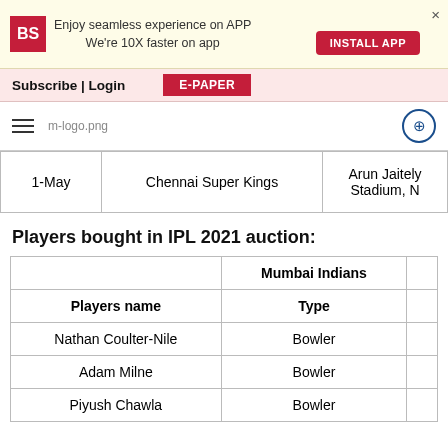[Figure (screenshot): Business Standard app install banner with red BS logo, text 'Enjoy seamless experience on APP We're 10X faster on app', red INSTALL APP button, and X close button]
[Figure (screenshot): Navigation bar with Subscribe | Login text and red E-PAPER button]
[Figure (screenshot): Logo bar with hamburger menu, m-logo.png placeholder, and user icon]
| Date | Team | Venue |
| --- | --- | --- |
| 1-May | Chennai Super Kings | Arun Jaitely Stadium, N |
Players bought in IPL 2021 auction:
| Players name | Type |
| --- | --- |
| Nathan Coulter-Nile | Bowler |
| Adam Milne | Bowler |
| Piyush Chawla | Bowler |